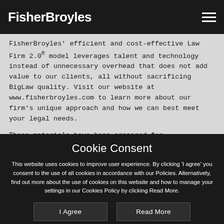FisherBroyles
FisherBroyles' efficient and cost-effective Law Firm 2.0® model leverages talent and technology instead of unnecessary overhead that does not add value to our clients, all without sacrificing BigLaw quality. Visit our website at www.fisherbroyles.com to learn more about our firm's unique approach and how we can best meet your legal needs.
These materials have been prepared for informational purposes only, are not legal advice, and under rules applicable to the professional conduct of attorneys in various jurisdictions may be considered advertising materials. This information is not intended to create an attorney-client or similar relationship. Whether you need legal services and which lawyer you select are important decisions that should not be
Cookie Consent
This website uses cookies to improve user experience. By clicking 'I agree' you consent to the use of all cookies in accordance with our Policies. Alternatively, find out more about the use of cookies on this website and how to manage your settings in our Cookies Policy by clicking Read More.
I Agree
Read More